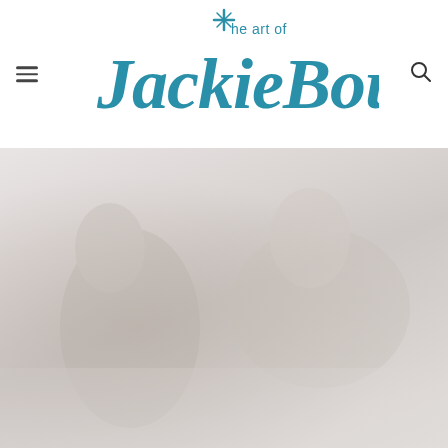The art of Jackie Bourne
[Figure (photo): A large artwork or art piece image, appearing light/faded, showing abstract or figurative content with soft grey and beige tones.]